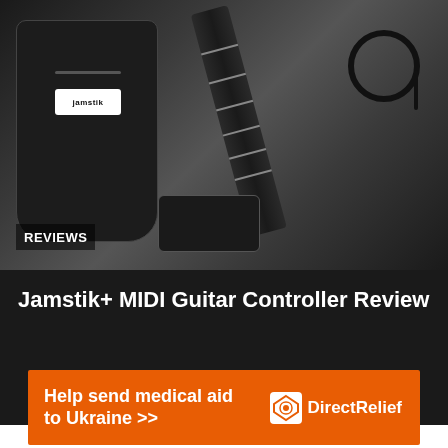[Figure (photo): Photo of Jamstik+ MIDI Guitar Controller kit showing a guitar gig bag with jamstik logo label, the guitar neck/body controller, and a coiled cable, all laid out on a dark surface]
REVIEWS
Jamstik+ MIDI Guitar Controller Review
[Figure (other): Advertisement banner for Direct Relief - Help send medical aid to Ukraine with Direct Relief logo]
Help send medical aid to Ukraine >> Direct Relief